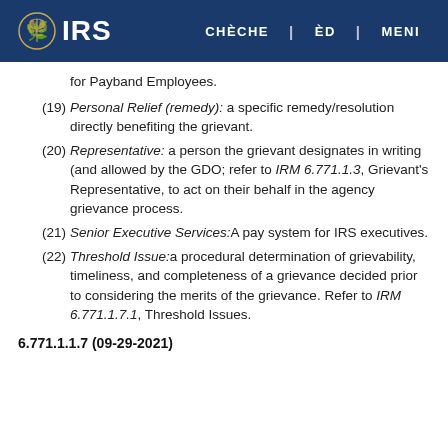IRS | CHÈCHE | ÈD | MENI
for Payband Employees.
(19) Personal Relief (remedy): a specific remedy/resolution directly benefiting the grievant.
(20) Representative: a person the grievant designates in writing (and allowed by the GDO; refer to IRM 6.771.1.3, Grievant's Representative, to act on their behalf in the agency grievance process.
(21) Senior Executive Services:A pay system for IRS executives.
(22) Threshold Issue:a procedural determination of grievability, timeliness, and completeness of a grievance decided prior to considering the merits of the grievance. Refer to IRM 6.771.1.7.1, Threshold Issues.
6.771.1.1.7 (09-29-2021)